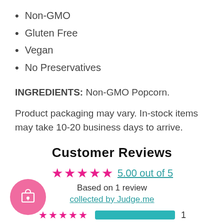Non-GMO
Gluten Free
Vegan
No Preservatives
INGREDIENTS: Non-GMO Popcorn.
Product packaging may vary. In-stock items may take 10-20 business days to arrive.
Customer Reviews
5.00 out of 5
Based on 1 review
collected by Judge.me